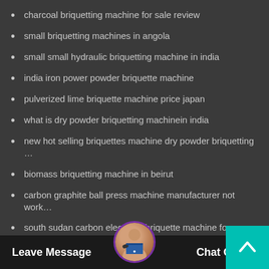charcoal briquetting machine for sale review
small briquetting machines in angola
small small hydraulic briquetting machine in india
india iron power powder briquette machine
pulverized lime briquette machine price japan
what is dry powder briquetting machinein india
new hot selling briquettes machine dry powder briquetting …
biomass briquetting machine in beirut
carbon graphite ball press machine manufacturer not work…
south sudan carbon electrode briquette machine for sa…
carbon graphite briquetting machine indonesia for sale
Leave Message   Chat Online